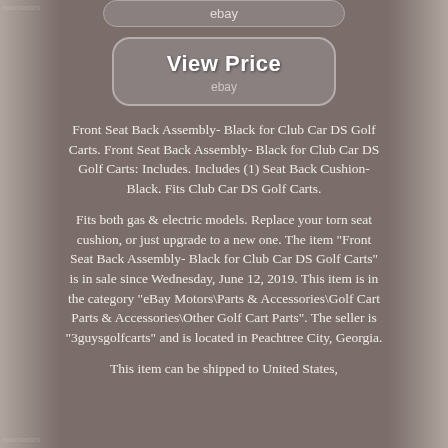[Figure (screenshot): eBay button at top, partially visible, rounded rectangle with 'ebay' text]
[Figure (screenshot): View Price button with 'ebay' label below, rounded rectangle styled button]
Front Seat Back Assembly- Black for Club Car DS Golf Carts. Front Seat Back Assembly- Black for Club Car DS Golf Carts: Includes. Includes (1) Seat Back Cushion- Black. Fits Club Car DS Golf Carts.
Fits both gas & electric models. Replace your torn seat cushion, or just upgrade to a new one. The item "Front Seat Back Assembly- Black for Club Car DS Golf Carts" is in sale since Wednesday, June 12, 2019. This item is in the category "eBay Motors\Parts & Accessories\Golf Cart Parts & Accessories\Other Golf Cart Parts". The seller is "3guysgolfcarts" and is located in Peachtree City, Georgia.
This item can be shipped to United States,